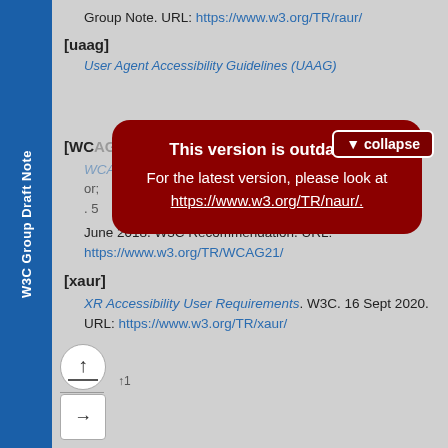W3C Group Draft Note
Group Note. URL: https://www.w3.org/TR/raur/
[uaag]
User Agent Accessibility Guidelines (UAAG)
[Figure (screenshot): Red modal overlay with collapse button and outdated version warning: 'This version is outdated! For the latest version, please look at https://www.w3.org/TR/naur/.']
[WCAG]
. 5 June 2018. W3C Recommendation. URL: https://www.w3.org/TR/WCAG21/
[xaur]
XR Accessibility User Requirements. W3C. 16 Sept 2020. URL: https://www.w3.org/TR/xaur/
↑1